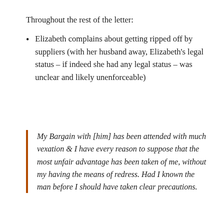Throughout the rest of the letter:
Elizabeth complains about getting ripped off by suppliers (with her husband away, Elizabeth's legal status – if indeed she had any legal status – was unclear and likely unenforceable)
My Bargain with [him] has been attended with much vexation & I have every reason to suppose that the most unfair advantage has been taken of me, without my having the means of redress. Had I known the man before I should have taken clear precautions.